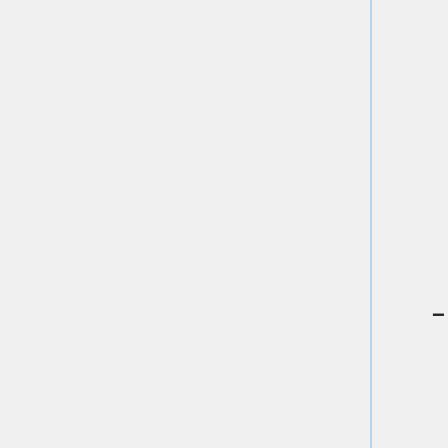with the original password would then be empty, should they be compromised. On the downside, the password-changing process would potentially take much longer, cost a transaction fee or more, and initially at least, the new wallet is no longer backed up. On the upside, non-technical users won't find their